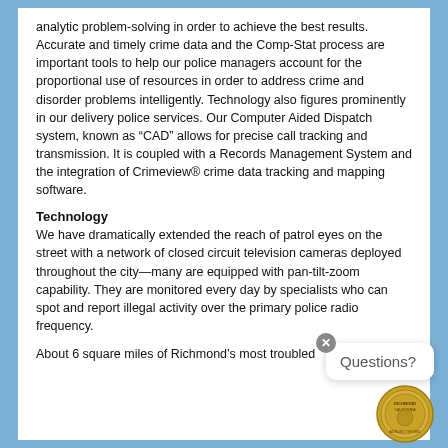analytic problem-solving in order to achieve the best results. Accurate and timely crime data and the Comp-Stat process are important tools to help our police managers account for the proportional use of resources in order to address crime and disorder problems intelligently. Technology also figures prominently in our delivery police services. Our Computer Aided Dispatch system, known as “CAD” allows for precise call tracking and transmission. It is coupled with a Records Management System and the integration of Crimeview® crime data tracking and mapping software.
Technology
We have dramatically extended the reach of patrol eyes on the street with a network of closed circuit television cameras deployed throughout the city—many are equipped with pan-tilt-zoom capability. They are monitored every day by specialists who can spot and report illegal activity over the primary police radio frequency.
About 6 square miles of Richmond’s most troubled